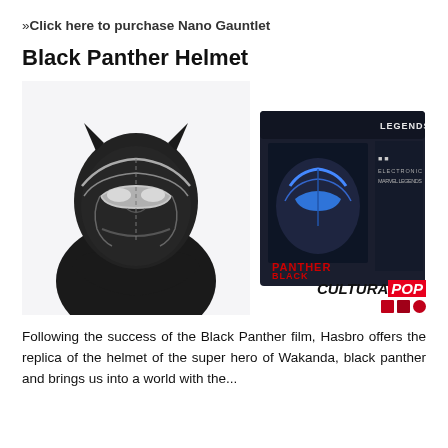»Click here to purchase Nano Gauntlet
Black Panther Helmet
[Figure (photo): Left: person wearing a Black Panther helmet/mask, arms crossed, wearing black long-sleeve shirt. Right: Hasbro Marvel Legends Black Panther helmet product in its retail box. Bottom-right: CulturaPop logo.]
Following the success of the Black Panther film, Hasbro offers the replica of the helmet of the super hero of Wakanda, black panther and brings us into a world with the...